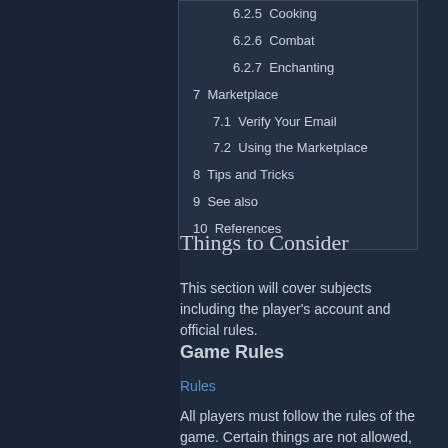6.2.5  Cooking
6.2.6  Combat
6.2.7  Enchanting
7  Marketplace
7.1  Verify Your Email
7.2  Using the Marketplace
8  Tips and Tricks
9  See also
10  References
Things to Consider
This section will cover subjects including the player's account and official rules.
Game Rules
Rules
All players must follow the rules of the game. Certain things are not allowed, and can result in your account being